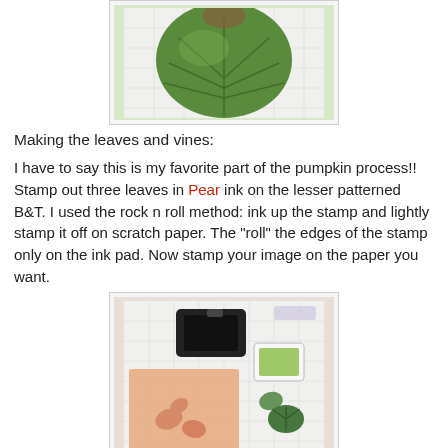[Figure (photo): Close-up photo of a green leaf (pumpkin leaf) with visible veins, on a light grid/paper background.]
Making the leaves and vines:
I have to say this is my favorite part of the pumpkin process!! Stamp out three leaves in Pear ink on the lesser patterned B&T. I used the rock n roll method: ink up the stamp and lightly stamp it off on scratch paper. The "roll" the edges of the stamp only on the ink pad. Now stamp your image on the paper you want.
[Figure (photo): Photo showing an ink pad (black), a smaller green ink pad, a leaf stamp image, stamped leaf images on orange/peach paper, and small stamped leaf cutouts on a grid/paper background.]